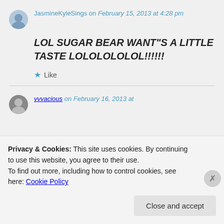JasmineKyleSings on February 15, 2013 at 4:28 pm
LOL SUGAR BEAR WANT"S A LITTLE TASTE LOLOLOLOLOL!!!!!!
Like
vvvacious on February 16, 2013 at
Privacy & Cookies: This site uses cookies. By continuing to use this website, you agree to their use.
To find out more, including how to control cookies, see here: Cookie Policy